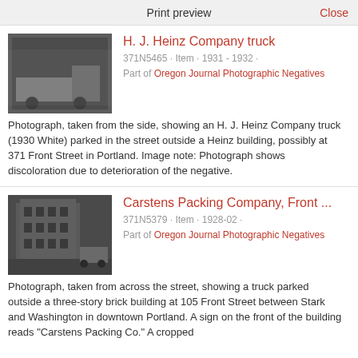Print preview   Close
H. J. Heinz Company truck
371N5465 · Item · 1931 - 1932 ·
Part of Oregon Journal Photographic Negatives
Photograph, taken from the side, showing an H. J. Heinz Company truck (1930 White) parked in the street outside a Heinz building, possibly at 371 Front Street in Portland. Image note: Photograph shows discoloration due to deterioration of the negative.
Carstens Packing Company, Front ...
371N5379 · Item · 1928-02 ·
Part of Oregon Journal Photographic Negatives
Photograph, taken from across the street, showing a truck parked outside a three-story brick building at 105 Front Street between Stark and Washington in downtown Portland. A sign on the front of the building reads "Carstens Packing Co." A cropped